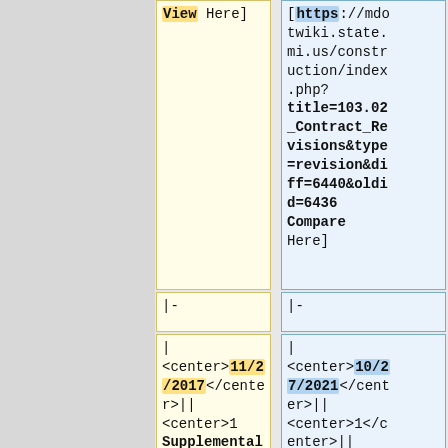View Here]
[https://mdotwiki.state.mi.us/construction/index.php?title=103.02_Contract_Revisions&type=revision&diff=6440&oldid=6436 Compare Here]
|-
|-
| <center>11/2/2017</center>|| <center>1 Supplemental
| <center>10/27/2021</center>|| <center>1</center>||